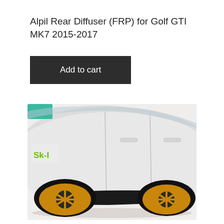Alpil Rear Diffuser (FRP) for Golf GTI MK7 2015-2017
Add to cart
[Figure (photo): Side profile photo of a white Volkswagen Golf GTI MK7 with black side skirt extensions and gold/bronze aftermarket wheels. A green 'Sk-I' logo is visible on the front door. The car is lowered and photographed on a white background.]